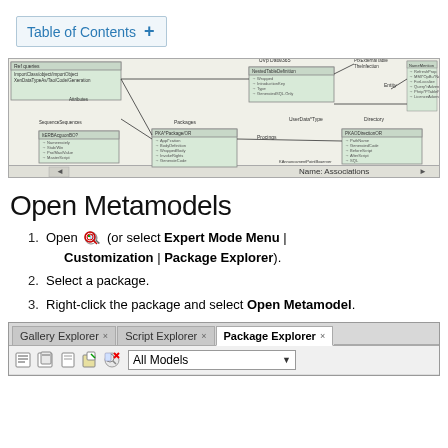Table of Contents +
[Figure (screenshot): Metamodel diagram showing UML class diagram with packages, entities, associations, stored procedures, and other model elements connected by lines in a software modeling tool]
Open Metamodels
1. Open [icon] (or select Expert Mode Menu | Customization | Package Explorer).
2. Select a package.
3. Right-click the package and select Open Metamodel.
[Figure (screenshot): Package Explorer tab panel showing tabs: Gallery Explorer x, Script Explorer x, Package Explorer x (active), with toolbar icons and All Models dropdown]